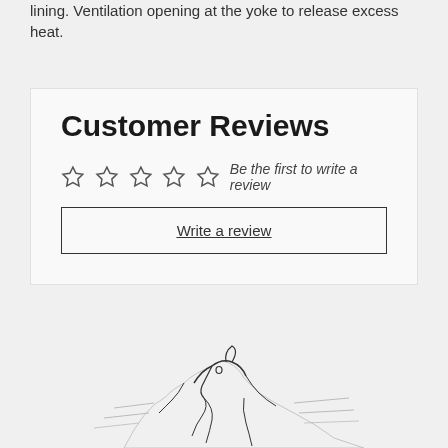lining. Ventilation opening at the yoke to release excess heat.
Customer Reviews
☆☆☆☆☆  Be the first to write a review
Write a review
[Figure (illustration): Partial illustration of a dog or wolf character at the bottom of the page, black and white line art style, cropped at the bottom edge.]